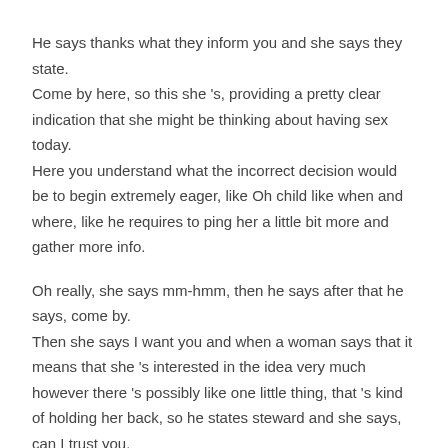He says thanks what they inform you and she says they state. Come by here, so this she 's, providing a pretty clear indication that she might be thinking about having sex today. Here you understand what the incorrect decision would be to begin extremely eager, like Oh child like when and where, like he requires to ping her a little bit more and gather more info.
Oh really, she says mm-hmm, then he says after that he says, come by. Then she says I want you and when a woman says that it means that she 's interested in the idea very much however there 's possibly like one little thing, that 's kind of holding her back, so he states steward and she says, can I trust you. He says yes, and sometimes it 's actually as simple as I own you overcomplicate these things.
You understand concern dealt with, she states: hmm, you might